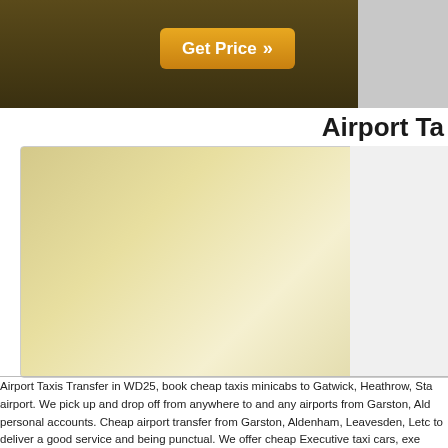[Figure (screenshot): Top banner with dark brown/olive background containing a golden 'Get Price >>' button, and a grey panel on the right side]
Airport Ta
[Figure (screenshot): Beige/tan gradient card area with a blue logo icon on the right side and small text lines reading 'H' and 'C' with a horizontal rule]
Airport Taxis Transfer in WD25, book cheap taxis minicabs to Gatwick, Heathrow, Sta airport. We pick up and drop off from anywhere to and any airports from Garston, Ald personal accounts. Cheap airport transfer from Garston, Aldenham, Leavesden, Letc to deliver a good service and being punctual. We offer cheap Executive taxi cars, exe weddings, funerals, sea port service, Airport transfers, hen's night, party celebration. Stansted airport transfers to and from Garston. Book cheap share a cabs, ride in WD sharing, Gatwick airport transfer, Heathrow airport transfer, Stansted airport transfer, book your airport taxi transfer to go to and pickup from Gatwick south airport, Gatwic cost of your journey from WD25 Leavesden, to all airports including Birmingham Airp airport, Dundee airport, Inverness airport. Students and elderly can save by booking We Offer student 10% discount taxi with student NUS card and id.